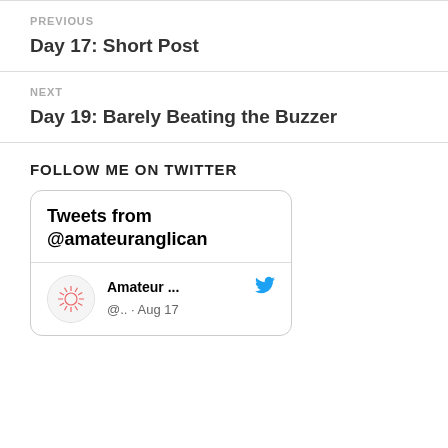PREVIOUS
Day 17: Short Post
NEXT
Day 19: Barely Beating the Buzzer
FOLLOW ME ON TWITTER
[Figure (screenshot): Twitter widget showing Tweets from @amateuranglican with a tweet preview showing 'Amateur ...' and '@.. · Aug 17']